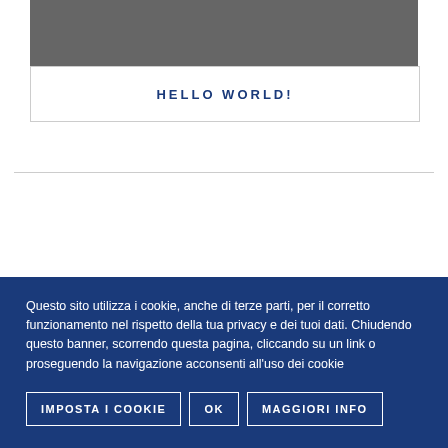[Figure (other): Gray rectangle placeholder image area]
HELLO WORLD!
Questo sito utilizza i cookie, anche di terze parti, per il corretto funzionamento nel rispetto della tua privacy e dei tuoi dati. Chiudendo questo banner, scorrendo questa pagina, cliccando su un link o proseguendo la navigazione acconsenti all'uso dei cookie
IMPOSTA I COOKIE
OK
MAGGIORI INFO